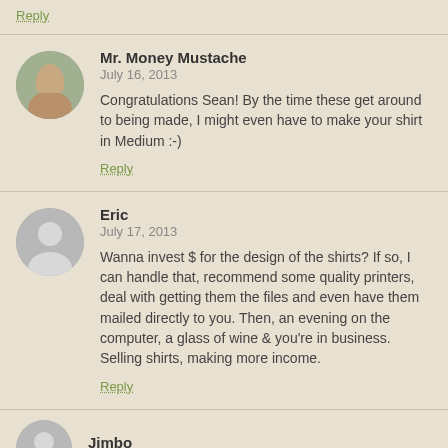Reply
Mr. Money Mustache
July 16, 2013
Congratulations Sean! By the time these get around to being made, I might even have to make your shirt in Medium :-)
Reply
Eric
July 17, 2013
Wanna invest $ for the design of the shirts? If so, I can handle that, recommend some quality printers, deal with getting them the files and even have them mailed directly to you. Then, an evening on the computer, a glass of wine & you're in business. Selling shirts, making more income.
Reply
Jimbo